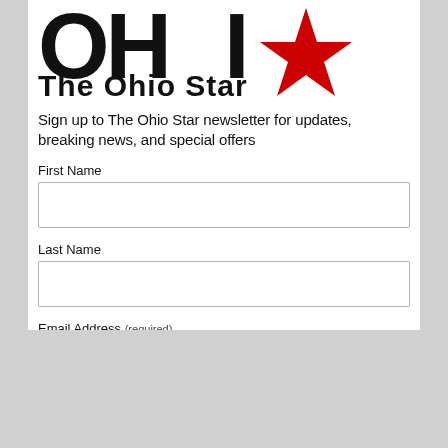[Figure (logo): The Ohio Star newspaper logo with large stylized 'OHI' letters and a red star, followed by bold text 'The Ohio Star']
Sign up to The Ohio Star newsletter for updates, breaking news, and special offers
First Name
Last Name
Email Address (required)
Subscribe